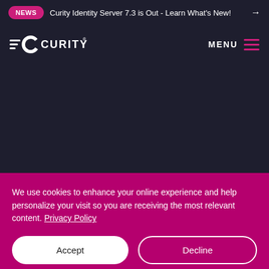NEWS  Curity Identity Server 7.3 is Out - Learn What's New!  →
[Figure (logo): Curity logo with stylized C and wordmark CURITY with registered trademark symbol]
MENU
We use cookies to enhance your online experience and help personalize your visit so you are receiving the most relevant content. Privacy Policy
Accept
Decline